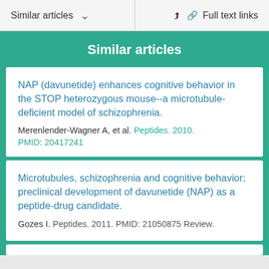Similar articles   Full text links
Similar articles
NAP (davunetide) enhances cognitive behavior in the STOP heterozygous mouse--a microtubule-deficient model of schizophrenia.
Merenlender-Wagner A, et al. Peptides. 2010.
PMID: 20417241
Microtubules, schizophrenia and cognitive behavior: preclinical development of davunetide (NAP) as a peptide-drug candidate.
Gozes I. Peptides. 2011. PMID: 21050875 Review.